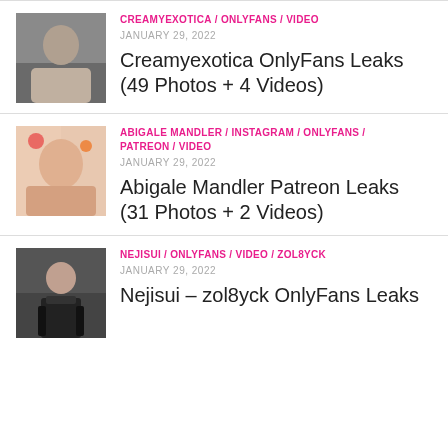CREAMYEXOTICA / ONLYFANS / VIDEO
JANUARY 29, 2022
Creamyexotica OnlyFans Leaks (49 Photos + 4 Videos)
ABIGALE MANDLER / INSTAGRAM / ONLYFANS / PATREON / VIDEO
JANUARY 29, 2022
Abigale Mandler Patreon Leaks (31 Photos + 2 Videos)
NEJISUI / ONLYFANS / VIDEO / ZOL8YCK
JANUARY 29, 2022
Nejisui – zol8yck OnlyFans Leaks